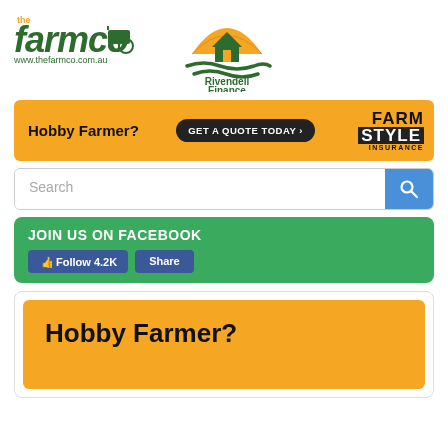[Figure (logo): The Farmco logo with tractor icon and www.thefarmco.com.au URL]
[Figure (logo): Rivendell Finance logo with orange sun and green house icon]
[Figure (infographic): Yellow banner ad: Hobby Farmer? GET A QUOTE TODAY > FARM STYLE INSURANCE]
[Figure (screenshot): Search bar with magnifying glass button]
[Figure (infographic): Green JOIN US ON FACEBOOK banner with Follow 4.2K and Share buttons]
[Figure (infographic): Card with yellow inner box showing large text Hobby Farmer?]